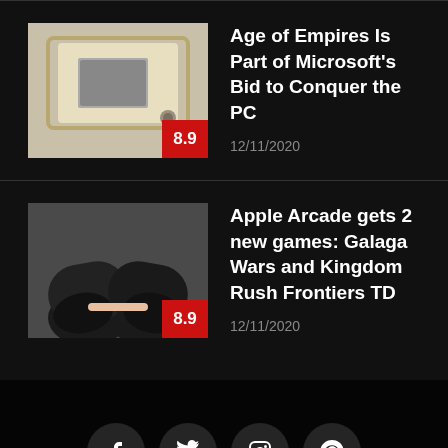[Figure (photo): Thumbnail image of laptop and accessories on a tray, light beige background]
Age of Empires Is Part of Microsoft's Bid to Conquer the PC
12/11/2020
[Figure (photo): Thumbnail image of person wearing black sneakers, dark background]
Apple Arcade gets 2 new games: Galaga Wars and Kingdom Rush Frontiers TD
12/11/2020
[Figure (infographic): Social media icons: Facebook, Twitter, Instagram, Pinterest in dark circles]
HOME